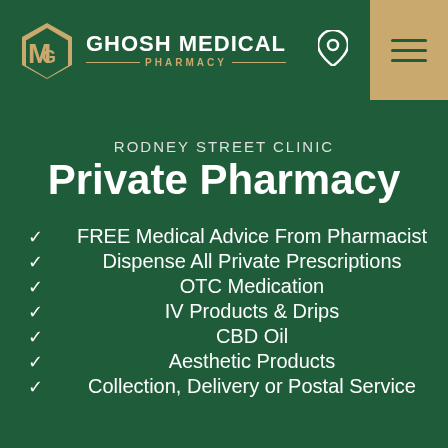[Figure (logo): Ghosh Medical Pharmacy logo with gold hexagonal M-G monogram icon and white text 'GHOSH MEDICAL PHARMACY']
RODNEY STREET CLINIC
Private Pharmacy
FREE Medical Advice From Pharmacist
Dispense All Private Prescriptions
OTC Medication
IV Products & Drips
CBD Oil
Aesthetic Products
Collection, Delivery or Postal Service